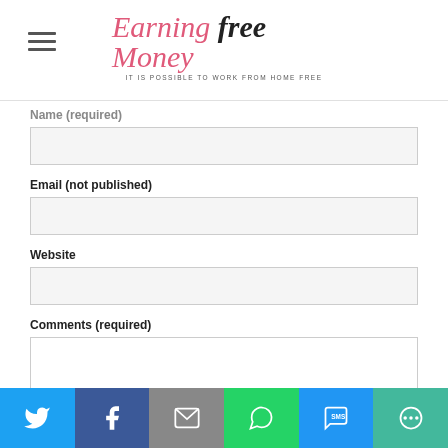Earning Free Money - IT IS POSSIBLE TO WORK FROM HOME FREE
Name (required)
Email (not published)
Website
Comments (required)
[Figure (infographic): Social share bar with Twitter, Facebook, Email, WhatsApp, SMS, and More buttons]